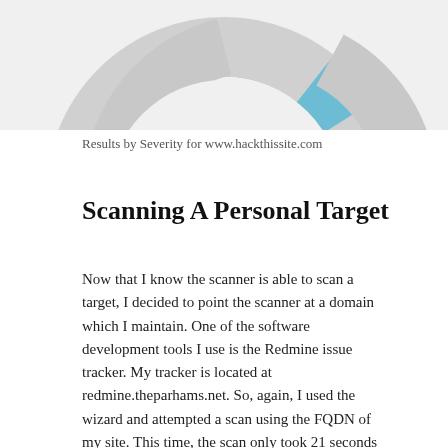[Figure (donut-chart): Partial view of a donut/pie chart showing results by severity, mostly gray with a small blue slice visible at top right]
Results by Severity for www.hackthissite.com
Scanning A Personal Target
Now that I know the scanner is able to scan a target, I decided to point the scanner at a domain which I maintain. One of the software development tools I use is the Redmine issue tracker. My tracker is located at redmine.theparhams.net. So, again, I used the wizard and attempted a scan using the FQDN of my site. This time, the scan only took 21 seconds to complete. However, no vulnerabilities were reported and OpenVAS reported my site may be dead.